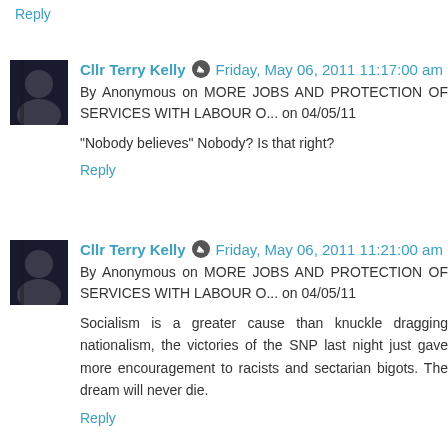Reply
Cllr Terry Kelly  Friday, May 06, 2011 11:17:00 am
By Anonymous on MORE JOBS AND PROTECTION OF SERVICES WITH LABOUR O... on 04/05/11
“Nobody believes” Nobody? Is that right?
Reply
Cllr Terry Kelly  Friday, May 06, 2011 11:21:00 am
By Anonymous on MORE JOBS AND PROTECTION OF SERVICES WITH LABOUR O... on 04/05/11
Socialism is a greater cause than knuckle dragging nationalism, the victories of the SNP last night just gave more encouragement to racists and sectarian bigots. The dream will never die.
Reply